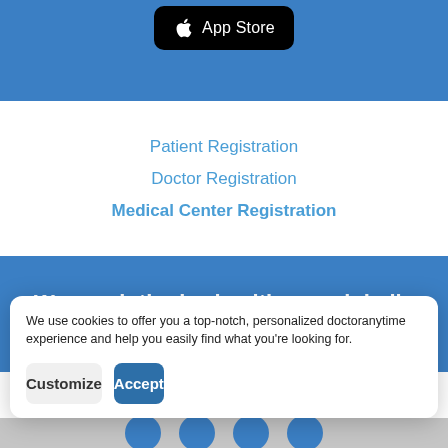[Figure (screenshot): App Store download button with Apple logo on black rounded rectangle background]
Patient Registration
Doctor Registration
Medical Center Registration
We revolutionize healthcare globally
Mexico | Colombia | Ecuador | Greece | Brazil
We use cookies to offer you a top-notch, personalized doctoranytime experience and help you easily find what you're looking for.
Customize
Accept